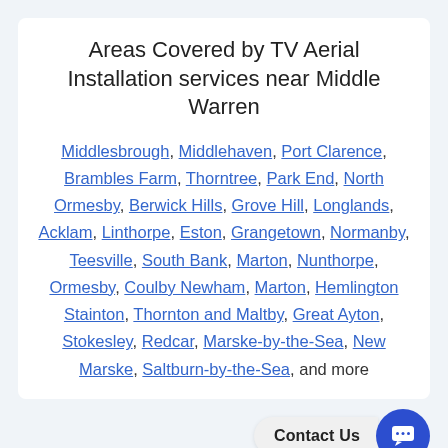Areas Covered by TV Aerial Installation services near Middle Warren
Middlesbrough, Middlehaven, Port Clarence, Brambles Farm, Thorntree, Park End, North Ormesby, Berwick Hills, Grove Hill, Longlands, Acklam, Linthorpe, Eston, Grangetown, Normanby, Teesville, South Bank, Marton, Nunthorpe, Ormesby, Coulby Newham, Marton, Hemlington Stainton, Thornton and Maltby, Great Ayton, Stokesley, Redcar, Marske-by-the-Sea, New Marske, Saltburn-by-the-Sea, and more